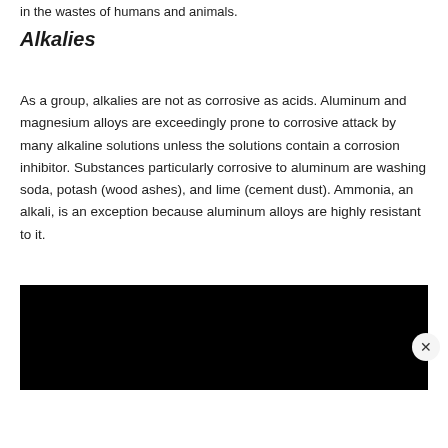in the wastes of humans and animals.
Alkalies
As a group, alkalies are not as corrosive as acids. Aluminum and magnesium alloys are exceedingly prone to corrosive attack by many alkaline solutions unless the solutions contain a corrosion inhibitor. Substances particularly corrosive to aluminum are washing soda, potash (wood ashes), and lime (cement dust). Ammonia, an alkali, is an exception because aluminum alloys are highly resistant to it.
[Figure (other): Black rectangular overlay/advertisement bar with a close (X) button in the bottom right corner.]